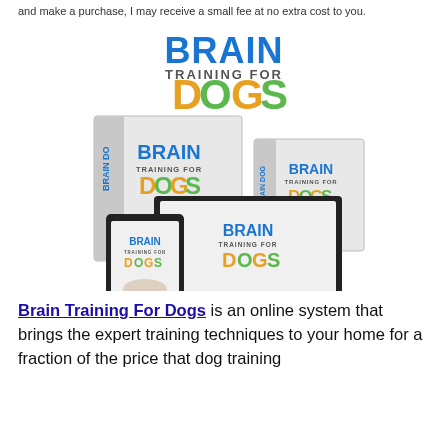and make a purchase, I may receive a small fee at no extra cost to you.
[Figure (illustration): Product image collage for Brain Training For Dogs showing book boxes, a laptop, and a tablet all branded with 'Brain Training For Dogs' text and a dog playing chess.]
Brain Training For Dogs is an online system that brings the expert training techniques to your home for a fraction of the price that dog training